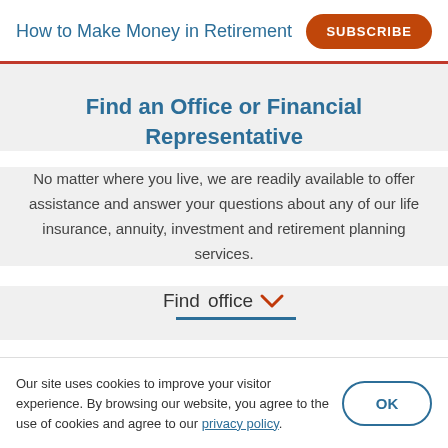How to Make Money in Retirement
Find an Office or Financial Representative
No matter where you live, we are readily available to offer assistance and answer your questions about any of our life insurance, annuity, investment and retirement planning services.
Find office
Our site uses cookies to improve your visitor experience. By browsing our website, you agree to the use of cookies and agree to our privacy policy.